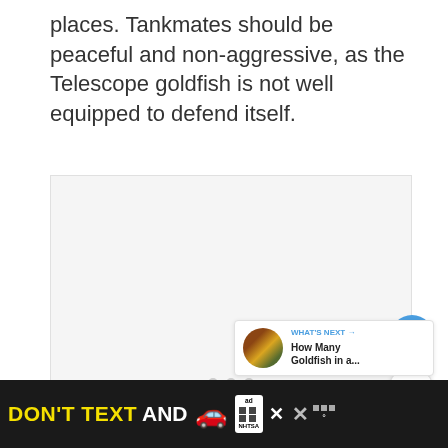places. Tankmates should be peaceful and non-aggressive, as the Telescope goldfish is not well equipped to defend itself.
[Figure (photo): Image placeholder area with dot navigation indicators at bottom, showing a slideshow of goldfish images. Three gray dots visible at bottom center indicating multiple slides.]
[Figure (infographic): What's Next thumbnail card showing a circular photo of goldfish and text 'WHAT'S NEXT → How Many Goldfish in a...']
[Figure (infographic): NHTSA advertisement banner: 'DON'T TEXT AND [car emoji]' with NHTSA logo and ad badge on black background.]